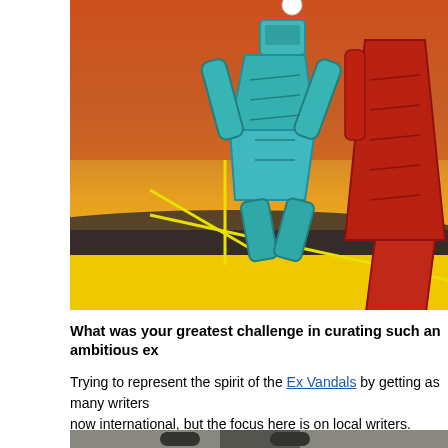[Figure (illustration): Colorful graphic artwork showing abstract robotic or graffiti-style figures in teal/cyan and red against an orange and yellow background with yellow line accents.]
What was your greatest challenge in curating such an ambitious ex...
Trying to represent the spirit of the Ex Vandals by getting as many writers... now international, but the focus here is on local writers.
[Figure (photo): Bottom portion of another image, partially visible at the bottom of the page.]